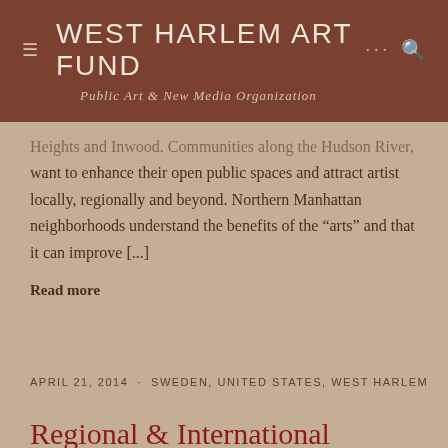WEST HARLEM ART FUND
Public Art & New Media Organization
Heights and Inwood. Communities along the Hudson River, want to enhance their open public spaces and attract artist locally, regionally and beyond. Northern Manhattan neighborhoods understand the benefits of the “arts” and that it can improve [...]
Read more
APRIL 21, 2014 · SWEDEN, UNITED STATES, WEST HARLEM
Regional & International